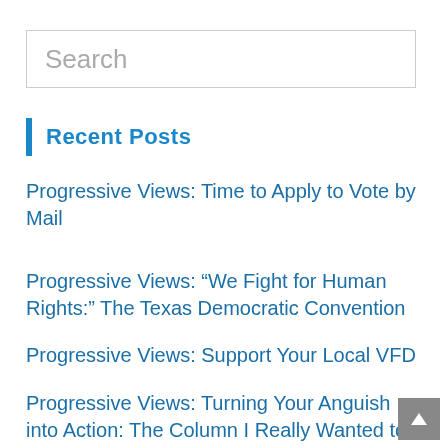[Figure (other): Search input box with placeholder text 'Search']
Recent Posts
Progressive Views: Time to Apply to Vote by Mail
Progressive Views: “We Fight for Human Rights:” The Texas Democratic Convention
Progressive Views: Support Your Local VFD
Progressive Views: Turning Your Anguish into Action: The Column I Really Wanted to Write